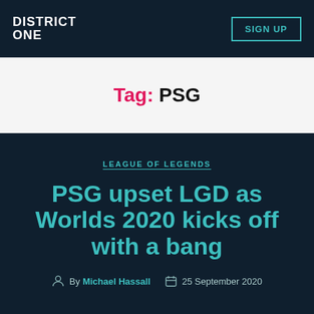DISTRICT ONE | SIGN UP
Tag: PSG
LEAGUE OF LEGENDS
PSG upset LGD as Worlds 2020 kicks off with a bang
By Michael Hassall  25 September 2020